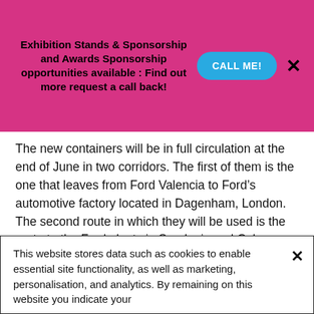[Figure (infographic): Pink promotional banner with bold text 'Exhibition Stands & Sponsorship and Awards Sponsorship opportunities available : Find out more request a call back!', a cyan 'CALL ME!' button, and a black X close button.]
The new containers will be in full circulation at the end of June in two corridors. The first of them is the one that leaves from Ford Valencia to Ford's automotive factory located in Dagenham, London. The second route in which they will be used is the route to the Ford plants in Saarlouis and Cologne, in Germany.
The design, which has been worked on for two years, introduces numerous advantages. The high cube containers are 45' feet and their tare weight is light, which makes it possible to increase the current transport capacity. As this volume increases, energy costs will also decrease and the environmental impact will be reduced.
This website stores data such as cookies to enable essential site functionality, as well as marketing, personalisation, and analytics. By remaining on this website you indicate your